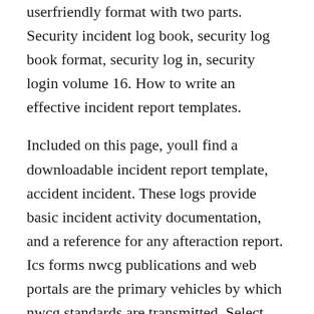userfriendly format with two parts. Security incident log book, security log book format, security log in, security login volume 16. How to write an effective incident report templates.
Included on this page, youll find a downloadable incident report template, accident incident. These logs provide basic incident activity documentation, and a reference for any afteraction report. Ics forms nwcg publications and web portals are the primary vehicles by which nwcg standards are transmitted. Select which day of the week the log book will start on step 3. Log all damage